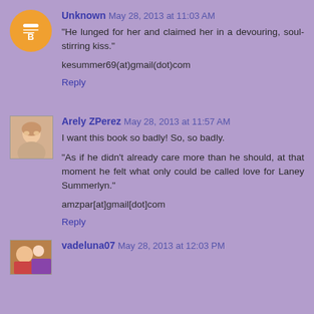Unknown May 28, 2013 at 11:03 AM
"He lunged for her and claimed her in a devouring, soul-stirring kiss."
kesummer69(at)gmail(dot)com
Reply
Arely ZPerez May 28, 2013 at 11:57 AM
I want this book so badly! So, so badly.
"As if he didn't already care more than he should, at that moment he felt what only could be called love for Laney Summerlyn."
amzpar[at]gmail[dot]com
Reply
vadeluna07 May 28, 2013 at 12:03 PM